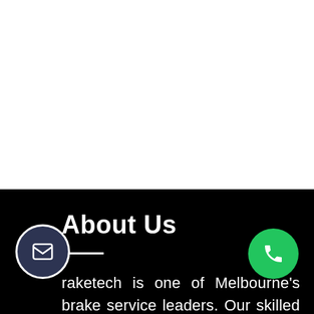[Figure (other): White background area occupying the top portion of the page]
About Us
raketech is one of Melbourne's brake service leaders. Our skilled mechanics know every part of your brake system